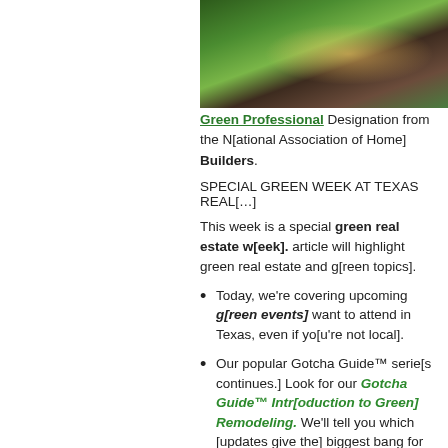[Figure (photo): Exterior photo of a green house with lush tropical plants and landscaping, warm interior lighting visible through doorway]
Green Professional Designation from the [National Association of Home] Builders.
SPECIAL GREEN WEEK AT TEXAS REAL[ESTATE CENTER BLOG]
This week is a special green real estate w[eek]. [Every] article will highlight green real estate and g[reen topics].
Today, we're covering upcoming g[reen events you'll] want to attend in Texas, even if yo[u're not local].
Our popular Gotcha Guide™ serie[s continues.] Look for our Gotcha Guide™ Intro[duction to Green] Remodeling. We'll tell you which [updates give the] biggest bang for the buck.
Friday's Spotlight will be on the t[op green builders in] Central Texas and the U.S. You ma[y be surprised who] made the list.
WHERE TO GET YOUR GREEN REAL ES[TATE EDUCATION]